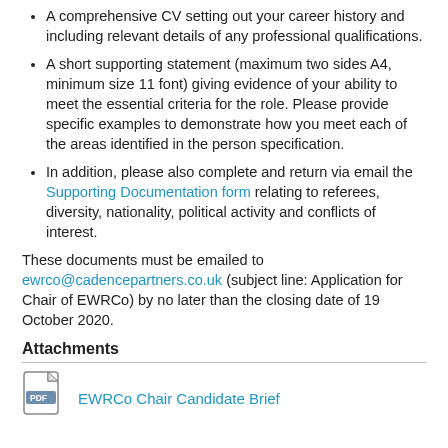A comprehensive CV setting out your career history and including relevant details of any professional qualifications.
A short supporting statement (maximum two sides A4, minimum size 11 font) giving evidence of your ability to meet the essential criteria for the role. Please provide specific examples to demonstrate how you meet each of the areas identified in the person specification.
In addition, please also complete and return via email the Supporting Documentation form relating to referees, diversity, nationality, political activity and conflicts of interest.
These documents must be emailed to ewrco@cadencepartners.co.uk (subject line: Application for Chair of EWRCo) by no later than the closing date of 19 October 2020.
Attachments
EWRCo Chair Candidate Brief